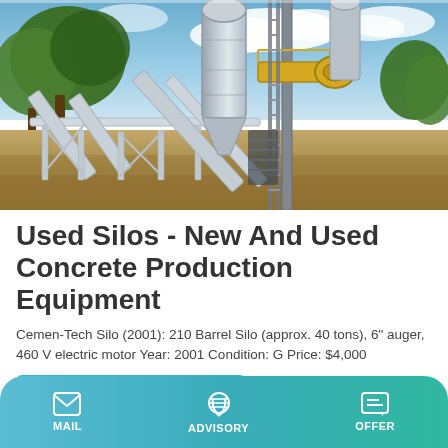[Figure (photo): Outdoor photo of industrial concrete production equipment including silos, conveyors, and structural frames on a construction site with trees and cloudy sky in background.]
Used Silos - New And Used Concrete Production Equipment
Cemen-Tech Silo (2001): 210 Barrel Silo (approx. 40 tons), 6" auger, 460 V electric motor Year: 2001 Condition: G Price: $4,000
Learn More
MAIL  ADVISORY  OFFER